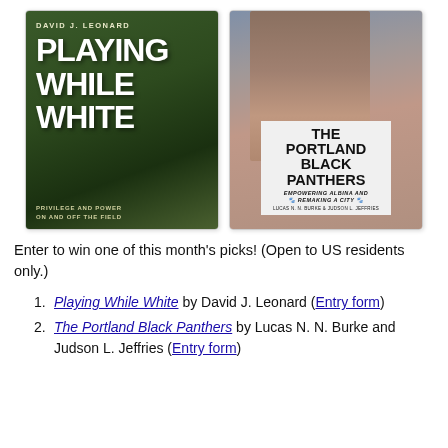[Figure (photo): Two book covers side by side: (1) 'Playing While White: Privilege and Power On and Off the Field' by David J. Leonard — dark green background with large white bold text; (2) 'The Portland Black Panthers: Empowering Albina and Remaking a City' by Lucas N. N. Burke & Judson L. Jeffries — photo of a Black woman holding a sign with the book title.]
Enter to win one of this month's picks! (Open to US residents only.)
Playing While White by David J. Leonard (Entry form)
The Portland Black Panthers by Lucas N. N. Burke and Judson L. Jeffries (Entry form)